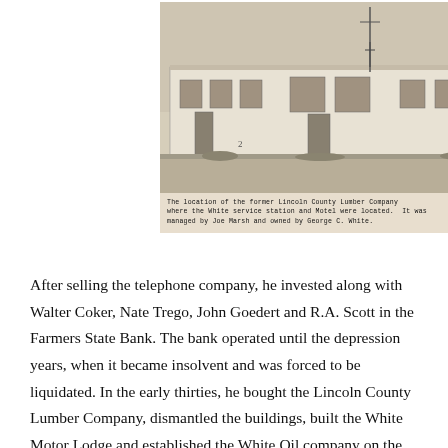[Figure (photo): Black and white photograph of a long, low commercial building — the former Lincoln County Lumber Company — with utility poles visible, and trees in the background. The building shows multiple storefronts and windows.]
The location of the former Lincoln County Lumber Company where the White service station and Motel were located. It was managed by Joe Marsh and owned by George C. White.
After selling the telephone company, he invested along with Walter Coker, Nate Trego, John Goedert and R.A. Scott in the Farmers State Bank. The bank operated until the depression years, when it became insolvent and was forced to be liquidated. In the early thirties, he bought the Lincoln County Lumber Company, dismantled the buildings, built the White Motor Lodge and established the White Oil company on the corner across from the railroad crossing. He owned land in Colorado, Wyoming and also quite a few parcels in Nebraska mainly in Lincoln County.